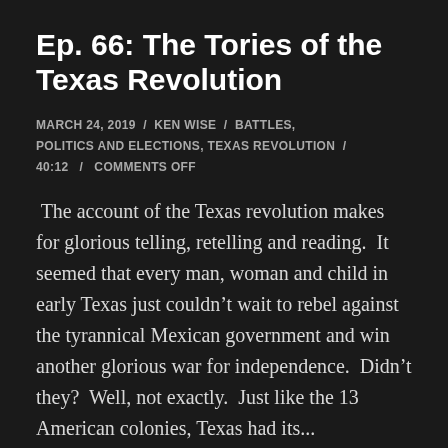Ep. 66: The Tories of the Texas Revolution
MARCH 24, 2019 / KEN WISE / BATTLES, POLITICS AND ELECTIONS, TEXAS REVOLUTION / 40:12 / COMMENTS OFF
The account of the Texas revolution makes for glorious telling, retelling and reading.  It seemed that every man, woman and child in early Texas just couldn’t wait to rebel against the tyrannical Mexican government and win another glorious war for independence.  Didn’t they?  Well, not exactly.  Just like the 13 American colonies, Texas had its...